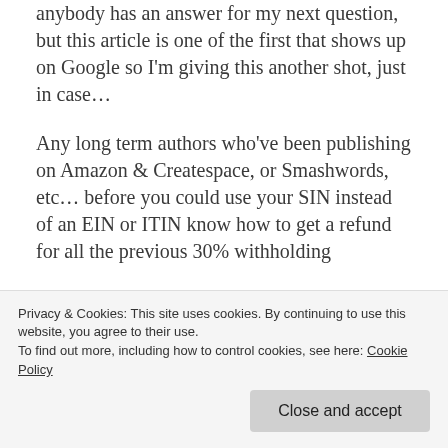anybody has an answer for my next question, but this article is one of the first that shows up on Google so I'm giving this another shot, just in case…
Any long term authors who've been publishing on Amazon & Createspace, or Smashwords, etc… before you could use your SIN instead of an EIN or ITIN know how to get a refund for all the previous 30% withholding
Privacy & Cookies: This site uses cookies. By continuing to use this website, you agree to their use. To find out more, including how to control cookies, see here: Cookie Policy
Close and accept
more Kindle books than I do